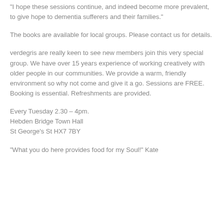“I hope these sessions continue, and indeed become more prevalent, to give hope to dementia sufferers and their families.”
The books are available for local groups. Please contact us for details.
verdegris are really keen to see new members join this very special group. We have over 15 years experience of working creatively with older people in our communities. We provide a warm, friendly environment so why not come and give it a go. Sessions are FREE. Booking is essential. Refreshments are provided.
Every Tuesday 2.30 – 4pm.
Hebden Bridge Town Hall
St George’s St HX7 7BY
“What you do here provides food for my Soul!” Kate